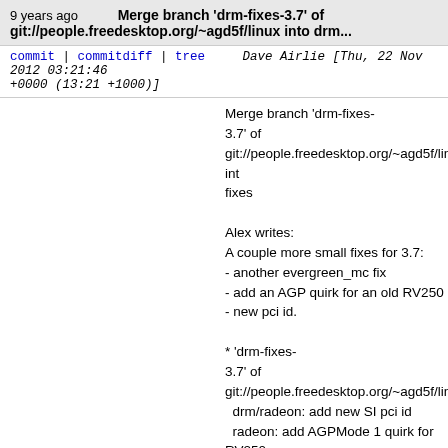9 years ago   Merge branch 'drm-fixes-3.7' of git://people.freedesktop.org/~agd5f/linux into drm...
commit | commitdiff | tree   Dave Airlie [Thu, 22 Nov 2012 03:21:46 +0000 (13:21 +1000)]
Merge branch 'drm-fixes-3.7' of git://people.freedesktop.org/~agd5f/linux int fixes

Alex writes:
A couple more small fixes for 3.7:
- another evergreen_mc fix
- add an AGP quirk for an old RV250
- new pci id.

* 'drm-fixes-3.7' of git://people.freedesktop.org/~agd5f/linux:
  drm/radeon: add new SI pci id
  radeon: add AGPMode 1 quirk for RV250
  drm/radeon: properly track the crtc not_enabled c
9 years ago   Merge branch 'drm-nouveau-fixes' of git://anongit.freedesktop.org/git/nouveau/linux...
commit | commitdiff | tree   Dave Airlie [Thu, 22 Nov 2012 03:20:45 +0000 (13:20 +1000)]
Merge branch 'drm-nouveau-